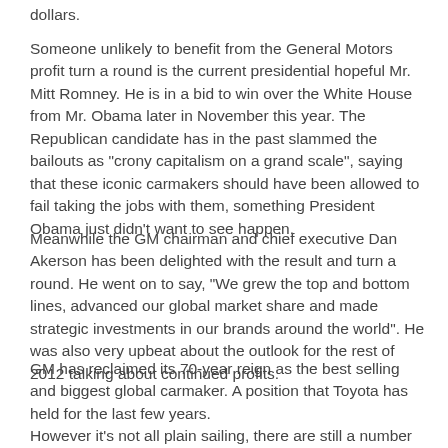dollars.
Someone unlikely to benefit from the General Motors profit turn a round is the current presidential hopeful Mr. Mitt Romney. He is in a bid to win over the White House from Mr. Obama later in November this year. The Republican candidate has in the past slammed the bailouts as "crony capitalism on a grand scale", saying that these iconic carmakers should have been allowed to fail taking the jobs with them, something President Obama just didn't want to see happen.
Meanwhile the GM chairman and chief executive Dan Akerson has been delighted with the result and turn a round. He went on to say, "We grew the top and bottom lines, advanced our global market share and made strategic investments in our brands around the world". He was also very upbeat about the outlook for the rest of 2012 talking about continued profits.
GM has reclaimed its 70-year reign as the best selling and biggest global carmaker. A position that Toyota has held for the last few years.
However it's not all plain sailing, there are still a number of